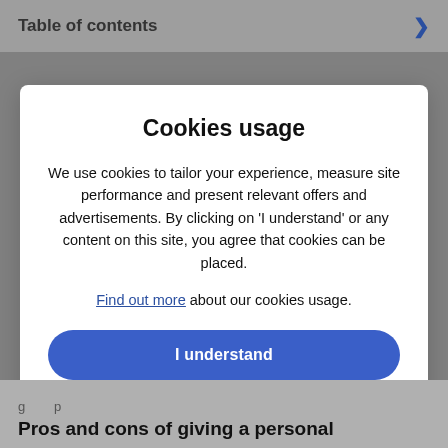Table of contents
Cookies usage
We use cookies to tailor your experience, measure site performance and present relevant offers and advertisements. By clicking on 'I understand' or any content on this site, you agree that cookies can be placed.
Find out more about our cookies usage.
I understand
Pros and cons of giving a personal